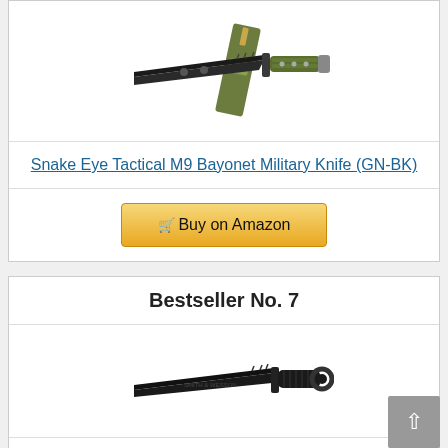[Figure (photo): Snake Eye Tactical M9 Bayonet Military Knife with green handle and black blade with sheath]
Snake Eye Tactical M9 Bayonet Military Knife (GN-BK)
Buy on Amazon
Bestseller No. 7
[Figure (photo): Smith & Wesson SW3B military tactical knife with black blade and ring pommel]
Smith & Wesson SW3B 12.8in S.S. Fixed Blade Knife with 7.8in Bowie Blade with